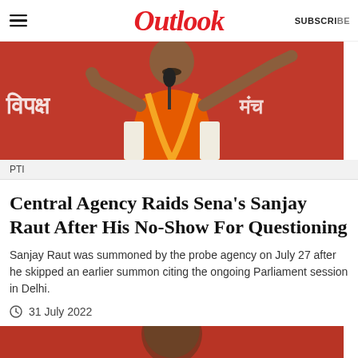Outlook
[Figure (photo): A man in orange traditional Indian attire speaking at a microphone, pointing with his finger, with Hindi text on a red banner in the background]
PTI
Central Agency Raids Sena’s Sanjay Raut After His No-Show For Questioning
Sanjay Raut was summoned by the probe agency on July 27 after he skipped an earlier summon citing the ongoing Parliament session in Delhi.
31 July 2022
[Figure (photo): Partial photo of a person at the bottom of the page, with a red background]